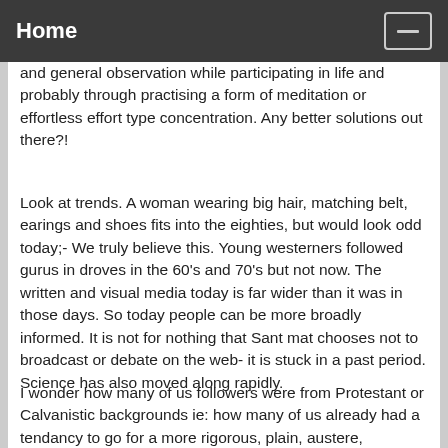Home
and general observation while participating in life and probably through practising a form of meditation or effortless effort type concentration. Any better solutions out there?!
Look at trends. A woman wearing big hair, matching belt, earings and shoes fits into the eighties, but would look odd today;- We truly believe this. Young westerners followed gurus in droves in the 60's and 70's but not now. The written and visual media today is far wider than it was in those days. So today people can be more broadly informed. It is not for nothing that Sant mat chooses not to broadcast or debate on the web- it is stuck in a past period. Science has also moved along rapidly.
I wonder how many of us followers were from Protestant or Calvanistic backgrounds ie: how many of us already had a tendancy to go for a more rigorous, plain, austere, masculine approach such as Sant Mat provides. Would people raised with the more ornate Catholic approach as readily find a home in Sant Mat? Would boarding school